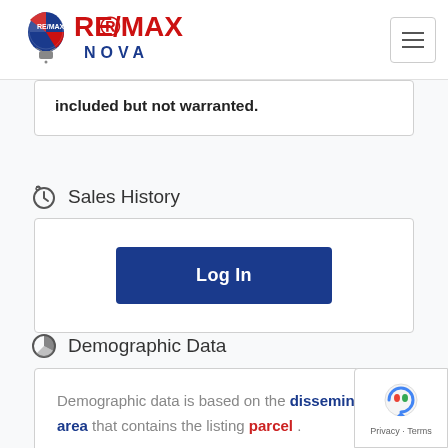[Figure (logo): RE/MAX Nova logo with hot air balloon icon and hamburger menu button]
included but not warranted.
Sales History
[Figure (other): Log In button (dark blue)]
Demographic Data
Demographic data is based on the dissemination area that contains the listing parcel .